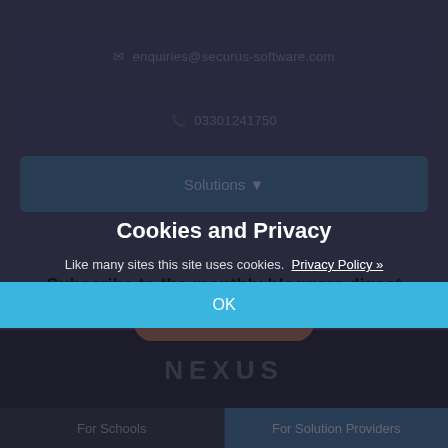enquiries@securus-software.com
03301241750
Solutions ▼
Cookies and Privacy
Like many sites this site uses cookies.  Privacy Policy »
Subscribe to the monthly bloggers digest
OK
NEXUS
For Schools    For Solution Providers